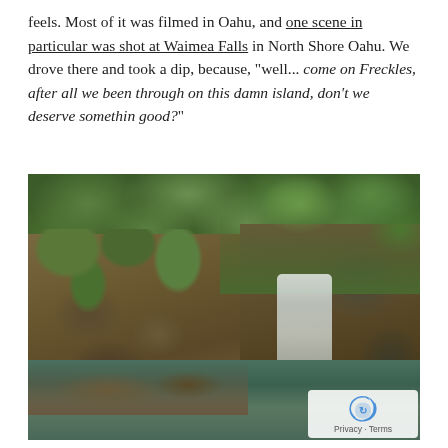feels. Most of it was filmed in Oahu, and one scene in particular was shot at Waimea Falls in North Shore Oahu. We drove there and took a dip, because, "well... come on Freckles, after all we been through on this damn island, don't we deserve somethin good?"
[Figure (photo): Photograph of Waimea Falls in North Shore Oahu. Shows a lush green tropical hillside with dense vegetation and rocky cliffs. A white waterfall cascades down the right side of the rocky cliff face into a pool of greenish water at the bottom. People can be seen swimming in the pool. A Google Maps reCAPTCHA privacy overlay appears in the bottom right corner.]